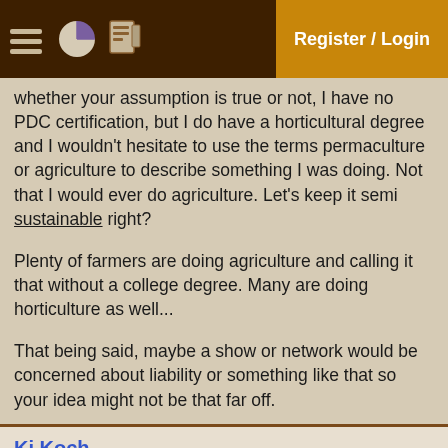Register / Login
whether your assumption is true or not, I have no PDC certification, but I do have a horticultural degree and I wouldn't hesitate to use the terms permaculture or agriculture to describe something I was doing. Not that I would ever do agriculture. Let's keep it semi sustainable right?

Plenty of farmers are doing agriculture and calling it that without a college degree. Many are doing horticulture as well...

That being said, maybe a show or network would be concerned about liability or something like that so your idea might not be that far off.
Kj Koch ,
Nov 28, 2015 22:36:30
10
reply
+Pie